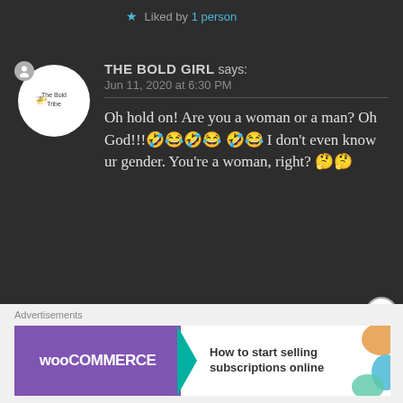★ Liked by 1 person
THE BOLD GIRL says:
Jun 11, 2020 at 6:30 PM
Oh hold on! Are you a woman or a man? Oh God!!!🤣😂🤣😂🤣😂 I don't even know ur gender. You're a woman, right? 🤔🤔
★ Liked by 1 person
[Figure (screenshot): WooCommerce advertisement banner: How to start selling subscriptions online]